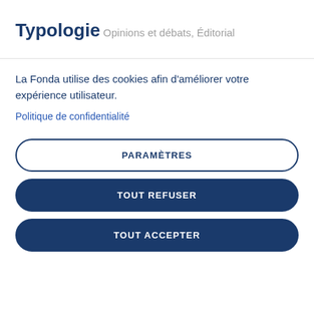Typologie
Opinions et débats, Éditorial
La Fonda utilise des cookies afin d'améliorer votre expérience utilisateur.
Politique de confidentialité
PARAMÈTRES
TOUT REFUSER
TOUT ACCEPTER